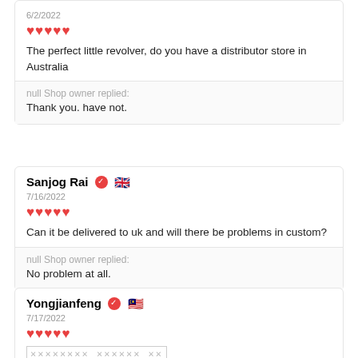6/2/2022
[Figure (other): 5 red heart icons (rating)]
The perfect little revolver, do you have a distributor store in Australia
null Shop owner replied: Thank you. have not.
Sanjog Rai
7/16/2022
[Figure (other): 5 red heart icons (rating)]
Can it be delivered to uk and will there be problems in custom?
null Shop owner replied: No problem at all.
Yongjianfeng
7/17/2022
[Figure (other): 5 red heart icons (rating)]
[CJK characters - untranslated text]